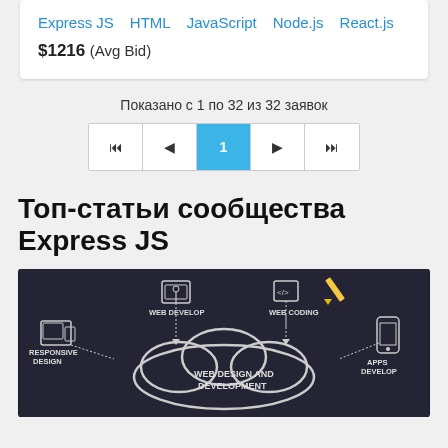Express JS   HTML   JavaScript   Node.js   React.js
$1216  (Avg Bid)
Показано с 1 по 32 из 32 заявок
[Figure (other): Pagination control with 5 buttons: first, previous, page 1 (active/highlighted in blue), next, last]
Топ-статьи сообщества Express JS
[Figure (photo): Dark chalkboard background with white chalk drawings showing web development concepts: WEB DESIGN AND DEVELOPMENT cloud diagram, WEB DEVELOP, WEB CODING, RESPONSIVE DESIGN, APPS DEVELOP labels with icons for monitors, devices, code brackets, gear icons, and connecting arrows]